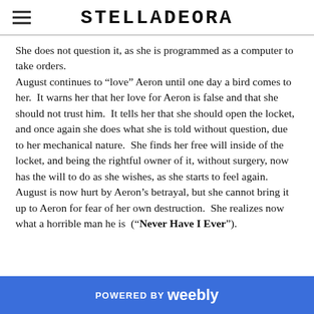STELLADEORA
She does not question it, as she is programmed as a computer to take orders. August continues to “love” Aeron until one day a bird comes to her.  It warns her that her love for Aeron is false and that she should not trust him.  It tells her that she should open the locket, and once again she does what she is told without question, due to her mechanical nature.  She finds her free will inside of the locket, and being the rightful owner of it, without surgery, now has the will to do as she wishes, as she starts to feel again. August is now hurt by Aeron’s betrayal, but she cannot bring it up to Aeron for fear of her own destruction.  She realizes now what a horrible man he is  (“Never Have I Ever”).
POWERED BY weebly